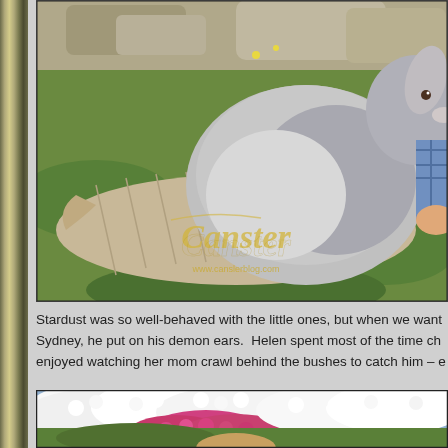[Figure (photo): A large fluffy grey rabbit (Stardust) sitting on a burlap blanket on green grass, with a child in blue plaid shirt partially visible. Watermark reads 'Canster www.canslerblog.com']
Stardust was so well-behaved with the little ones, but when we want Sydney, he put on his demon ears.  Helen spent most of the time ch enjoyed watching her mom crawl behind the bushes to catch him – e
[Figure (photo): Outdoor photo with white and pink flowering azalea bushes, and a child partially visible at the bottom.]